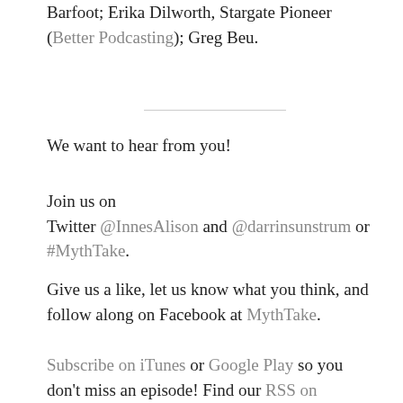Barfoot; Erika Dilworth, Stargate Pioneer (Better Podcasting); Greg Beu.
We want to hear from you!
Join us on
Twitter @InnesAlison and @darrinsunstrum or #MythTake.
Give us a like, let us know what you think, and follow along on Facebook at MythTake.
Subscribe on iTunes or Google Play so you don't miss an episode! Find our RSS on Podbean.